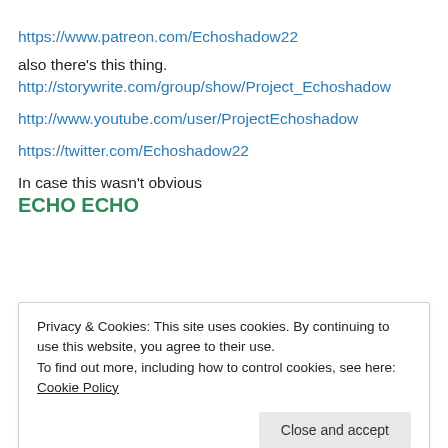https://www.patreon.com/Echoshadow22
also there's this thing.
http://storywrite.com/group/show/Project_Echoshadow
http://www.youtube.com/user/ProjectEchoshadow
https://twitter.com/Echoshadow22
In case this wasn't obvious
ECHO ECHO
Privacy & Cookies: This site uses cookies. By continuing to use this website, you agree to their use.
To find out more, including how to control cookies, see here: Cookie Policy
Close and accept
[Figure (screenshot): Dark navy blue banner with white bold italic text reading 'We all have them!']